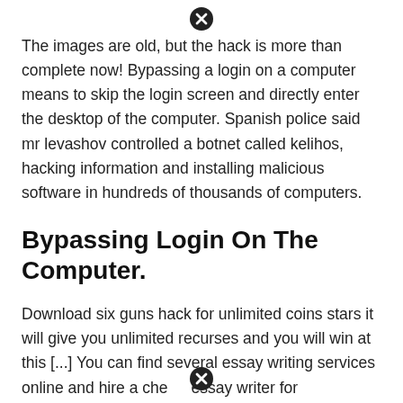[Figure (other): Close/dismiss button icon (circle with X) at top center]
The images are old, but the hack is more than complete now! Bypassing a login on a computer means to skip the login screen and directly enter the desktop of the computer. Spanish police said mr levashov controlled a botnet called kelihos, hacking information and installing malicious software in hundreds of thousands of computers.
Bypassing Login On The Computer.
Download six guns hack for unlimited coins stars it will give you unlimited recurses and you will win at this [...] You can find several essay writing services online and hire a cheap essay writer for
[Figure (other): Close/dismiss button icon (circle with X) at bottom center]